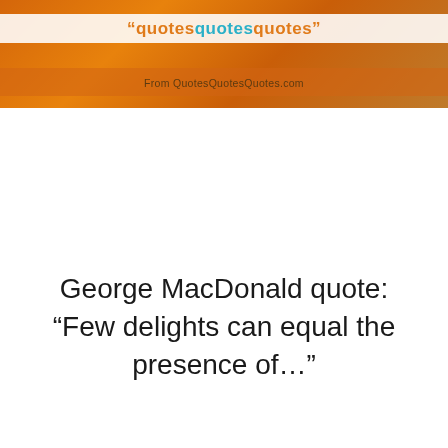"quotesquotesquotes" From QuotesQuotesQuotes.com
George MacDonald quote: “Few delights can equal the presence of…”